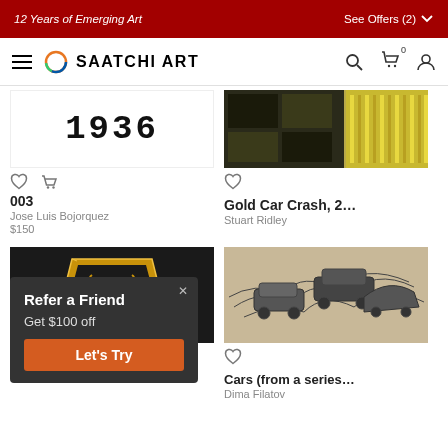12 Years of Emerging Art | See Offers (2)
SAATCHI ART
[Figure (other): Artwork '003' showing stylized text '1936' by Jose Luis Bojorquez]
003
Jose Luis Bojorquez
$150
[Figure (photo): Gold Car Crash artwork with gold and black abstract imagery by Stuart Ridley]
Gold Car Crash, 2...
Stuart Ridley
[Figure (photo): Lamborghini badge/shield logo artwork]
Lamborghini...
[Figure (photo): Cars (from a series...) - monochromatic drawing of crashed/stacked cars by Dima Filatov]
Cars (from a series...
Dima Filatov
Refer a Friend
Get $100 off
Let's Try